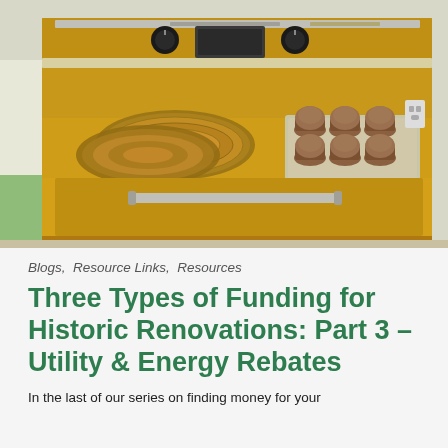[Figure (photo): A vintage yellow GE stove/range with two circular coil burners on the left with decorative plates on them, and a tray of muffins on the right burner area. The stove has a chrome handle on the oven door and black knobs at the top.]
Blogs,  Resource Links,  Resources
Three Types of Funding for Historic Renovations: Part 3 – Utility & Energy Rebates
In the last of our series on finding money for your